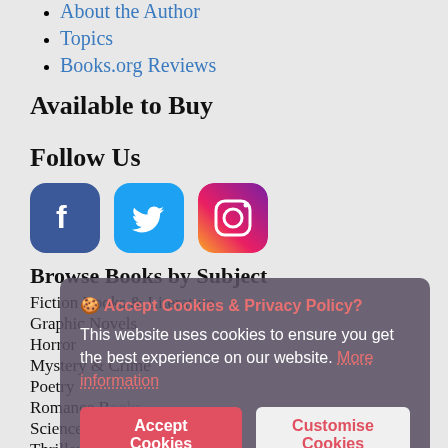About the Author
Topics
Books.org Reviews
Available to Buy
Follow Us
[Figure (other): Social media icons: Facebook (blue rounded square with white f), Twitter (blue rounded square with white bird), Instagram (gradient rounded square with white camera icon)]
Browse Books by Subject
Fiction Books & Literature
Graphic Novels
Horror
Mystery & Crime
Poetry
Romance Books
Science Fiction & Fantasy
Thrillers
Westerns
Accept Cookies & Privacy Policy?
This website uses cookies to ensure you get the best experience on our website. More information
Accept Cookies | Customise Cookies